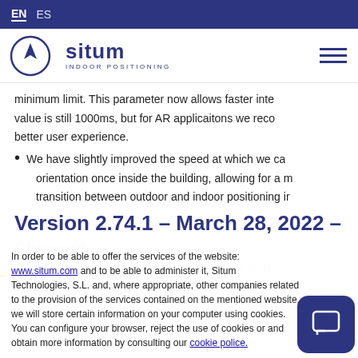EN  ES
[Figure (logo): Situm Indoor Positioning logo with compass icon]
minimum limit. This parameter now allows faster inte… value is still 1000ms, but for AR applicaitons we reco… better user experience.
We have slightly improved the speed at which we ca… orientation once inside the building, allowing for a m… transition between outdoor and indoor positioning ir…
Version 2.74.1 – March 28, 2022 –
Changed
Update ARCore dependency version to 1.30.0
Version 2.74.0 – March 16, 2…
Added
In order to be able to offer the services of the website: www.situm.com and to be able to administer it, Situm Technologies, S.L. and, where appropriate, other companies related to the provision of the services contained on the mentioned website, we will store certain information on your computer using cookies. You can configure your browser, reject the use of cookies or and obtain more information by consulting our cookie police.